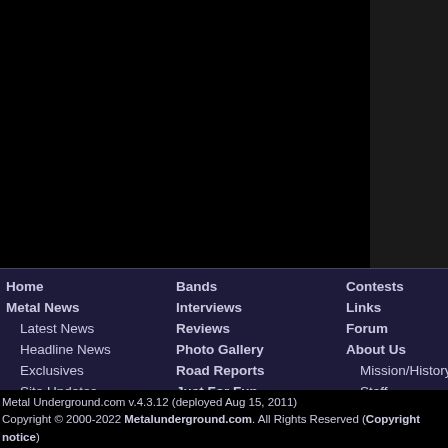[Figure (other): Large black rectangular area at top of page, website screenshot header region]
Home | Bands | Contests | Columns | Metal News | Interviews | Links | Unea... | Latest News | Reviews | Forum | Unde... | Headline News | Photo Gallery | About Us | Sund... | Exclusives | Road Reports | Mission/History | Pit St... | Site Updates | Just For Fun | Staff | Rock... | Submit News | Contact Us | Op/Ed
Metal Underground.com v.4.3.12 (deployed Aug 15, 2011)
Copyright © 2000-2022 Metalunderground.com. All Rights Reserved (Copyright notice)
Execution Time ~ 0.11s.